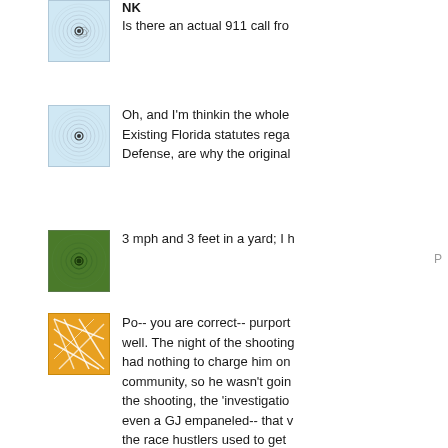[Figure (illustration): Blue/white spiral pattern avatar icon]
NK
Is there an actual 911 call fro
[Figure (illustration): Blue/white spiral pattern avatar icon]
Oh, and I'm thinkin the whole
Existing Florida statutes rega
Defense, are why the original
[Figure (illustration): Green spiral pattern avatar icon]
3 mph and 3 feet in a yard; I h
P
[Figure (illustration): Orange geometric/abstract pattern avatar icon]
Po-- you are correct-- purport
well. The night of the shooting
had nothing to charge him on
community, so he wasn't goin
the shooting, the 'investigatio
even a GJ empaneled-- that v
the race hustlers used to get
State involved. As you know,